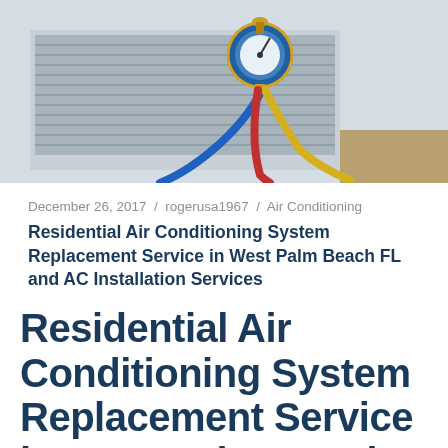[Figure (photo): Close-up photo of an air conditioning unit with refrigerant gauges (manifold gauge set) and colored hoses (blue, yellow, red) connected to the outdoor AC unit condenser.]
December 26, 2017 / rogerusa1967 / Air Conditioning
Residential Air Conditioning System Replacement Service in West Palm Beach FL and AC Installation Services
Residential Air Conditioning System Replacement Service in West Palm Beach FL